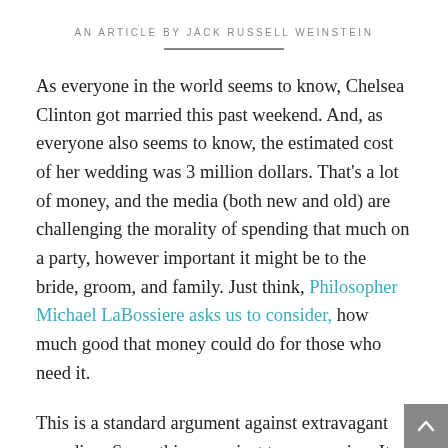AN ARTICLE BY JACK RUSSELL WEINSTEIN
As everyone in the world seems to know, Chelsea Clinton got married this past weekend. And, as everyone also seems to know, the estimated cost of her wedding was 3 million dollars. That’s a lot of money, and the media (both new and old) are challenging the morality of spending that much on a party, however important it might be to the bride, groom, and family. Just think, Philosopher Michael LaBossiere asks us to consider, how much good that money could do for those who need it.
This is a standard argument against extravagant spending. Some things are just too expensive. It rests on the notion of opportunity cost – those sacrifices one makes by doing